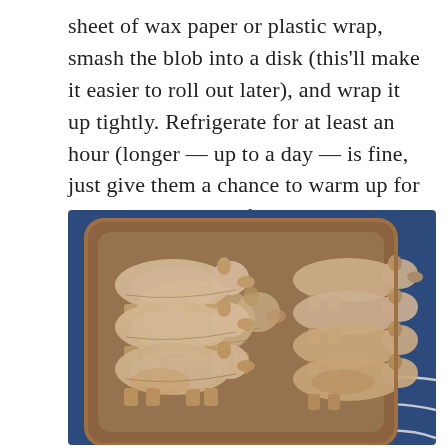sheet of wax paper or plastic wrap, smash the blob into a disk (this'll make it easier to roll out later), and wrap it up tightly. Refrigerate for at least an hour (longer — up to a day — is fine, just give them a chance to warm up for 10 minutes or so before you try to roll).
[Figure (photo): Photograph of animal-shaped shortbread cookies (pig-shaped) arranged on a brown ceramic serving tray, placed on a blue baking mat with white curved lines.]